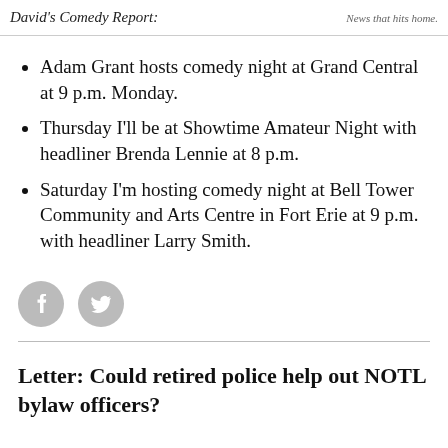David's Comedy Report. | News that hits home.
Adam Grant hosts comedy night at Grand Central at 9 p.m. Monday.
Thursday I'll be at Showtime Amateur Night with headliner Brenda Lennie at 8 p.m.
Saturday I'm hosting comedy night at Bell Tower Community and Arts Centre in Fort Erie at 9 p.m. with headliner Larry Smith.
[Figure (illustration): Social media share icons: Facebook and Twitter circles]
Letter: Could retired police help out NOTL bylaw officers?